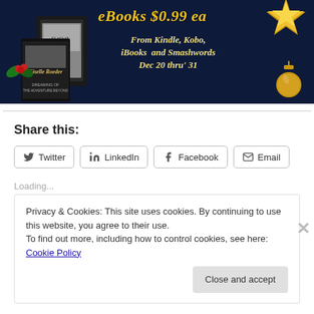[Figure (illustration): Dark blue promotional banner for eBooks at $0.99 each, available from Kindle, Kobo, iBooks and Smashwords, Dec 20 thru' 31, with book covers on left, gold star top right, gold ornament, holly decoration.]
Share this:
Twitter  LinkedIn  Facebook  Email (share buttons)
Loading...
Privacy & Cookies: This site uses cookies. By continuing to use this website, you agree to their use.
To find out more, including how to control cookies, see here: Cookie Policy
Close and accept